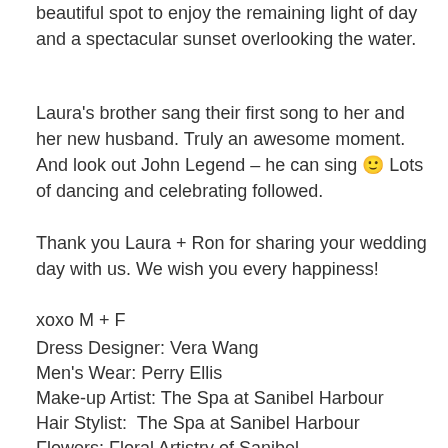beautiful spot to enjoy the remaining light of day and a spectacular sunset overlooking the water.
Laura's brother sang their first song to her and her new husband. Truly an awesome moment. And look out John Legend – he can sing 🙂 Lots of dancing and celebrating followed.
Thank you Laura + Ron for sharing your wedding day with us. We wish you every happiness!
xoxo M + F
Dress Designer: Vera Wang
Men's Wear: Perry Ellis
Make-up Artist: The Spa at Sanibel Harbour
Hair Stylist:  The Spa at Sanibel Harbour
Flowers: Floral Artistry of Sanibel